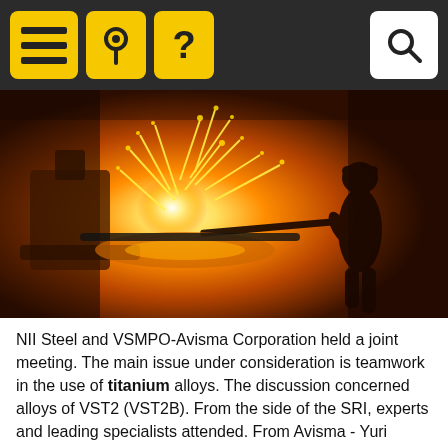Navigation bar with menu, location, help, and search icons
[Figure (photo): Industrial metalworking scene with bright sparks flying from molten metal, worker silhouetted against orange glowing furnace in a steel foundry]
NII Steel and VSMPO-Avisma Corporation held a joint meeting. The main issue under consideration is teamwork in the use of titanium alloys. The discussion concerned alloys of VST2 (VST2B). From the side of the SRI, experts and leading specialists attended. From Avisma - Yuri Zabolotny, deputy director for business development of special purpose products. The functions of the chairman of the meeting were laid on Dmitry Kupryunin, the executive director of the